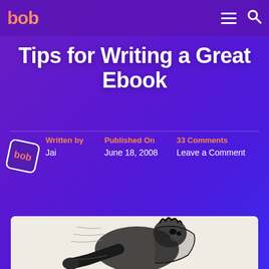bob
Tips for Writing a Great Ebook
Written by
Jai
Published On
June 18, 2008
33 Comments
Leave a Comment
[Figure (illustration): Black and white illustration of a person hunched over writing, drawn in a sketch/comic style]